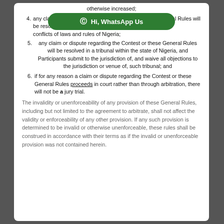otherwise increased;
4. any claim or dispute regarding the Contest or these General Rules will be resolved pursuant to the conflicts of laws and rules of Nigeria;
5. any claim or dispute regarding the Contest or these General Rules will be resolved in a tribunal within the state of Nigeria, and Participants submit to the jurisdiction of, and waive all objections to the jurisdiction or venue of, such tribunal; and
6. if for any reason a claim or dispute regarding the Contest or these General Rules proceeds in court rather than through arbitration, there will not be a jury trial.
The invalidity or unenforceability of any provision of these General Rules, including but not limited to the agreement to arbitrate, shall not affect the validity or enforceability of any other provision. If any such provision is determined to be invalid or otherwise unenforceable, these rules shall be construed in accordance with their terms as if the invalid or unenforceable provision was not contained herein.